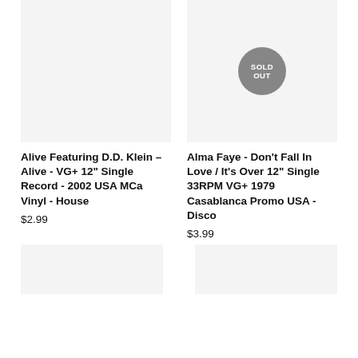[Figure (photo): Product image placeholder - light gray rectangle, no image loaded]
[Figure (photo): Product image placeholder - light gray rectangle with SOLD OUT circular badge overlay]
Alive Featuring D.D. Klein – Alive - VG+ 12" Single Record - 2002 USA MCa Vinyl - House
$2.99
Alma Faye - Don't Fall In Love / It's Over 12" Single 33RPM VG+ 1979 Casablanca Promo USA - Disco
$3.99
[Figure (photo): Product image placeholder - light gray rectangle, partially visible at bottom]
[Figure (photo): Product image placeholder - light gray rectangle, partially visible at bottom]